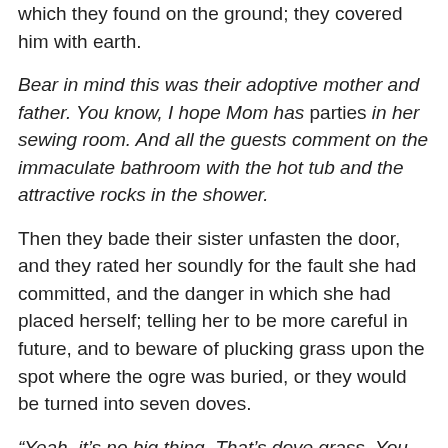which they found on the ground; they covered him with earth.
Bear in mind this was their adoptive mother and father. You know, I hope Mom has parties in her sewing room. And all the guests comment on the immaculate bathroom with the hot tub and the attractive rocks in the shower.
Then they bade their sister unfasten the door, and they rated her soundly for the fault she had committed, and the danger in which she had placed herself; telling her to be more careful in future, and to beware of plucking grass upon the spot where the ogre was buried, or they would be turned into seven doves.
“Yeah, it’s no big thing. That’s dove grass. You know how it is.”
“Heaven keep me from bringing such a misfortune upon you!” replied Cianna.
So taking possession of all the ogre’s goods and